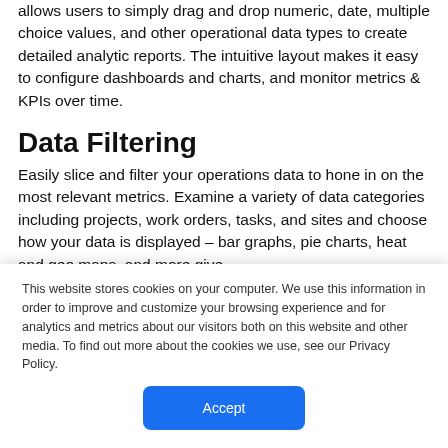allows users to simply drag and drop numeric, date, multiple choice values, and other operational data types to create detailed analytic reports. The intuitive layout makes it easy to configure dashboards and charts, and monitor metrics & KPIs over time.
Data Filtering
Easily slice and filter your operations data to hone in on the most relevant metrics. Examine a variety of data categories including projects, work orders, tasks, and sites and choose how your data is displayed – bar graphs, pie charts, heat and geo maps, and more give
This website stores cookies on your computer. We use this information in order to improve and customize your browsing experience and for analytics and metrics about our visitors both on this website and other media. To find out more about the cookies we use, see our Privacy Policy.
Accept